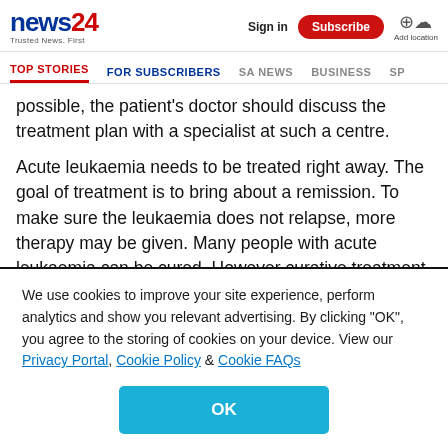news24 | Trusted News. First | Sign in | Subscribe | Add location
TOP STORIES | FOR SUBSCRIBERS | SA NEWS | BUSINESS | SP
possible, the patient's doctor should discuss the treatment plan with a specialist at such a centre.
Acute leukaemia needs to be treated right away. The goal of treatment is to bring about a remission. To make sure the leukaemia does not relapse, more therapy may be given. Many people with acute leukaemia can be cured. However curative treatment is very intensive and may be physically
We use cookies to improve your site experience, perform analytics and show you relevant advertising. By clicking "OK", you agree to the storing of cookies on your device. View our Privacy Portal, Cookie Policy & Cookie FAQs
OK